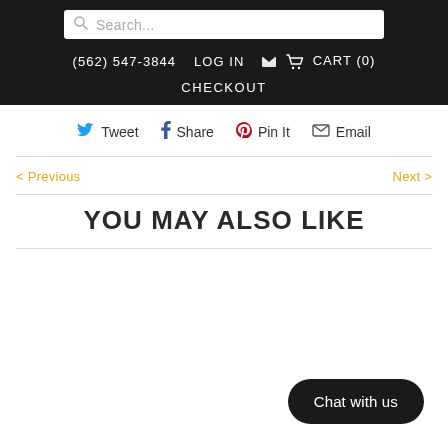Search... (562) 547-3844  LOG IN  CART (0)  CHECKOUT
Tweet  Share  Pin It  Email
< Previous    Next >
YOU MAY ALSO LIKE
Chat with us